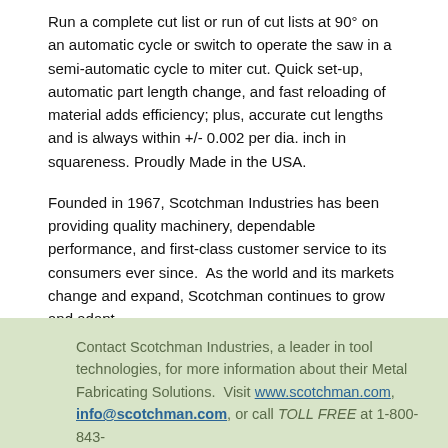Run a complete cut list or run of cut lists at 90° on an automatic cycle or switch to operate the saw in a semi-automatic cycle to miter cut. Quick set-up, automatic part length change, and fast reloading of material adds efficiency; plus, accurate cut lengths and is always within +/- 0.002 per dia. inch in squareness. Proudly Made in the USA.
Founded in 1967, Scotchman Industries has been providing quality machinery, dependable performance, and first-class customer service to its consumers ever since.  As the world and its markets change and expand, Scotchman continues to grow and adapt.
Contact Scotchman Industries, a leader in tool technologies, for more information about their Metal Fabricating Solutions.  Visit www.scotchman.com, info@scotchman.com, or call TOLL FREE at 1-800-843-